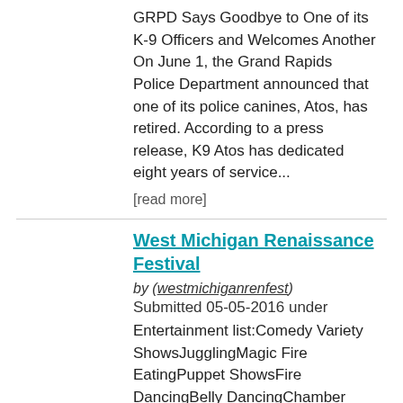GRPD Says Goodbye to One of its K-9 Officers and Welcomes Another On June 1, the Grand Rapids Police Department announced that one of its police canines, Atos, has retired. According to a press release, K9 Atos has dedicated eight years of service...
[read more]
West Michigan Renaissance Festival
by (westmichiganrenfest)
Submitted 05-05-2016 under
Entertainment list:Comedy Variety ShowsJugglingMagic Fire EatingPuppet ShowsFire DancingBelly DancingChamber MusicIrish/Folk MusicRenaissance MusicCommedia Del ArteWeapon Demonstrations and